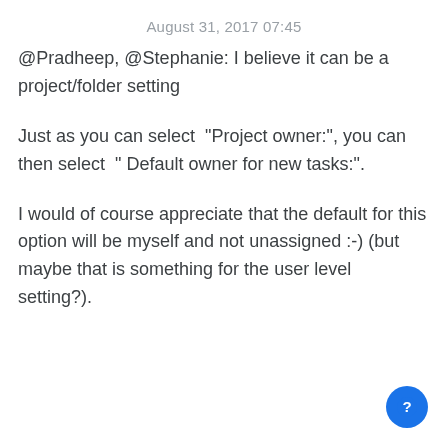August 31, 2017 07:45
@Pradheep, @Stephanie: I believe it can be a project/folder setting
Just as you can select  "Project owner:", you can then select  " Default owner for new tasks:".
I would of course appreciate that the default for this option will be myself and not unassigned :-) (but maybe that is something for the user level setting?).